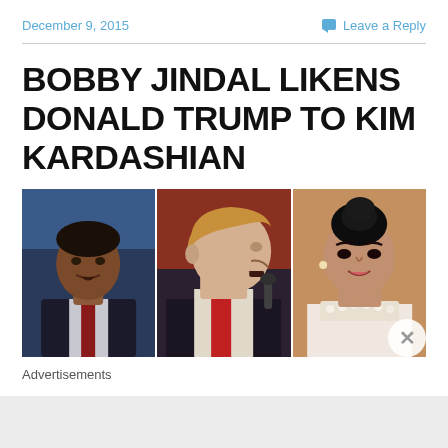December 9, 2015
Leave a Reply
BOBBY JINDAL LIKENS DONALD TRUMP TO KIM KARDASHIAN
[Figure (photo): Three side-by-side photos: Bobby Jindal speaking at podium (left), Donald Trump in profile at microphone (center), Kim Kardashian smiling with pearl necklace (right)]
Advertisements